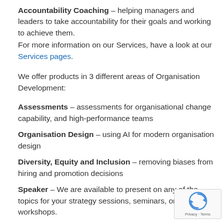Accountability Coaching – helping managers and leaders to take accountability for their goals and working to achieve them.
For more information on our Services, have a look at our Services pages.
We offer products in 3 different areas of Organisation Development:
Assessments – assessments for organisational change capability, and high-performance teams
Organisation Design – using AI for modern organisation design
Diversity, Equity and Inclusion – removing biases from hiring and promotion decisions
Speaker – We are available to present on any of the topics for your strategy sessions, seminars, or workshops.